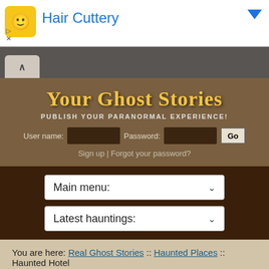[Figure (screenshot): Ad banner for Hair Cuttery with yellow logo icon and blue title text]
[Figure (screenshot): Browser tab bar with dark gray background and a light tab with chevron icon]
Your Ghost Stories
PUBLISH YOUR PARANORMAL EXPERIENCE!
User name:  Password:  Go
Sign up | Forgot your password?
Main menu:
Latest hauntings:
You are here: Real Ghost Stories :: Haunted Places :: Haunted Hotel